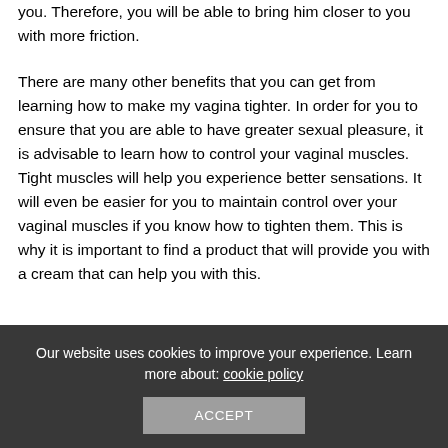you. Therefore, you will be able to bring him closer to you with more friction.
There are many other benefits that you can get from learning how to make my vagina tighter. In order for you to ensure that you are able to have greater sexual pleasure, it is advisable to learn how to control your vaginal muscles. Tight muscles will help you experience better sensations. It will even be easier for you to maintain control over your vaginal muscles if you know how to tighten them. This is why it is important to find a product that will provide you with a cream that can help you with this.
Our website uses cookies to improve your experience. Learn more about: cookie policy
ACCEPT